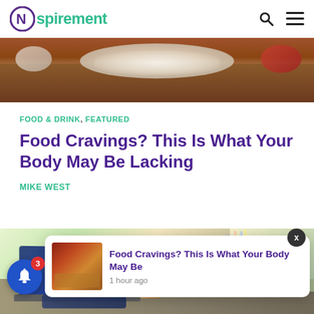Nspirement
[Figure (photo): Food on a wooden table, popcorn and snacks visible from above]
FOOD & DRINK, FEATURED
Food Cravings? This Is What Your Body May Be Lacking
MIKE WEST
[Figure (photo): Person working at a laptop on a desk with pencils, a wooden figure, and office items; warm sunlit background]
[Figure (screenshot): Notification popup: Food Cravings? This Is What Your Body May Be, 1 hour ago, with food thumbnail image]